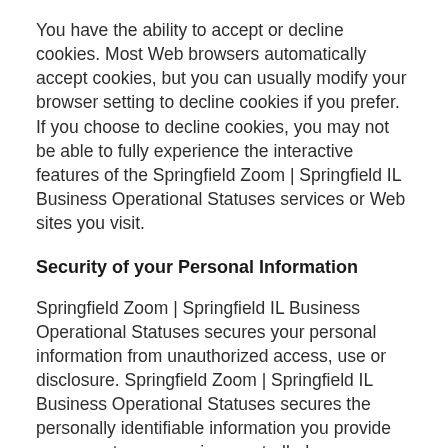You have the ability to accept or decline cookies. Most Web browsers automatically accept cookies, but you can usually modify your browser setting to decline cookies if you prefer. If you choose to decline cookies, you may not be able to fully experience the interactive features of the Springfield Zoom | Springfield IL Business Operational Statuses services or Web sites you visit.
Security of your Personal Information
Springfield Zoom | Springfield IL Business Operational Statuses secures your personal information from unauthorized access, use or disclosure. Springfield Zoom | Springfield IL Business Operational Statuses secures the personally identifiable information you provide on computer servers in a controlled, secure environment, protected from unauthorized access,